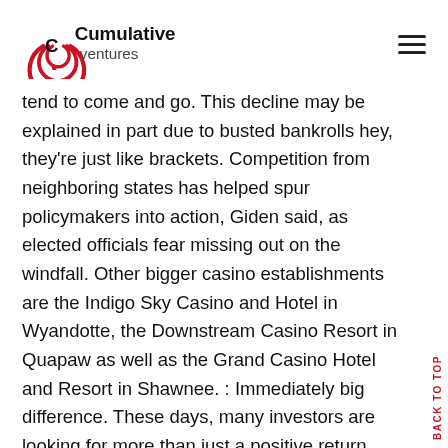Cumulative ventures [logo] [hamburger menu]
tend to come and go. This decline may be explained in part due to busted bankrolls hey, they're just like brackets. Competition from neighboring states has helped spur policymakers into action, Giden said, as elected officials fear missing out on the windfall. Other bigger casino establishments are the Indigo Sky Casino and Hotel in Wyandotte, the Downstream Casino Resort in Quapaw as well as the Grand Casino Hotel and Resort in Shawnee. : Immediately big difference. These days, many investors are looking for more than just a positive return. Nigl has two B1G teams — Michigan and Michigan State — moving on, while